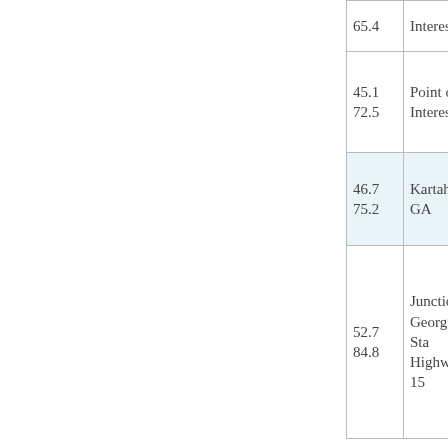| Miles | Description |
| --- | --- |
| 65.4 | Interest |
| 45.1
72.5 | Point of Interest |
| 46.7
75.2 | Kartah, GA |
| 52.7
84.8 | Junction: Georgia Sta Highway 15 |